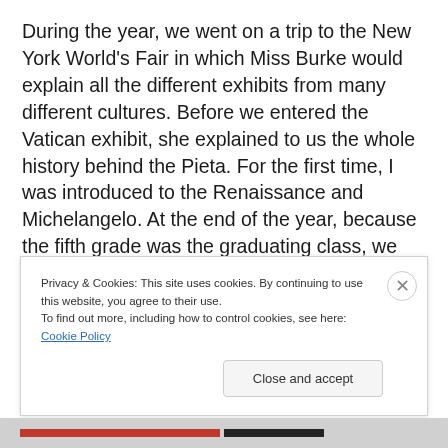During the year, we went on a trip to the New York World's Fair in which Miss Burke would explain all the different exhibits from many different cultures. Before we entered the Vatican exhibit, she explained to us the whole history behind the Pieta. For the first time, I was introduced to the Renaissance and Michelangelo. At the end of the year, because the fifth grade was the graduating class, we took a trip to Philadelphia to Independence Hall, the Franklin
Privacy & Cookies: This site uses cookies. By continuing to use this website, you agree to their use.
To find out more, including how to control cookies, see here: Cookie Policy
Close and accept